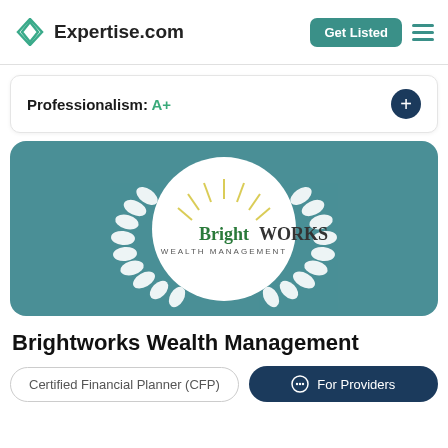Expertise.com
Professionalism: A+
[Figure (logo): Brightworks Wealth Management logo inside a white circle with decorative laurel wreath, on a teal background]
Brightworks Wealth Management
Certified Financial Planner (CFP)
For Providers